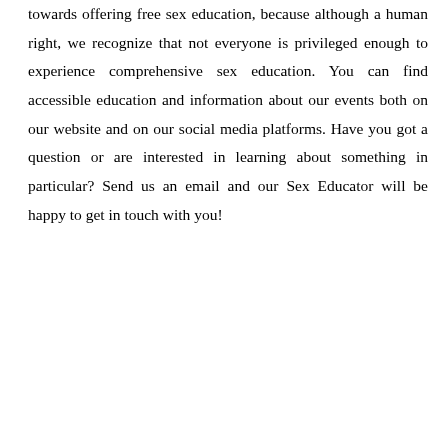towards offering free sex education, because although a human right, we recognize that not everyone is privileged enough to experience comprehensive sex education. You can find accessible education and information about our events both on our website and on our social media platforms. Have you got a question or are interested in learning about something in particular? Send us an email and our Sex Educator will be happy to get in touch with you!